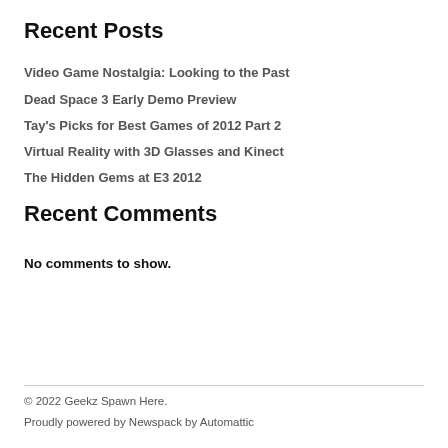Recent Posts
Video Game Nostalgia: Looking to the Past
Dead Space 3 Early Demo Preview
Tay's Picks for Best Games of 2012 Part 2
Virtual Reality with 3D Glasses and Kinect
The Hidden Gems at E3 2012
Recent Comments
No comments to show.
© 2022 Geekz Spawn Here.
Proudly powered by Newspack by Automattic